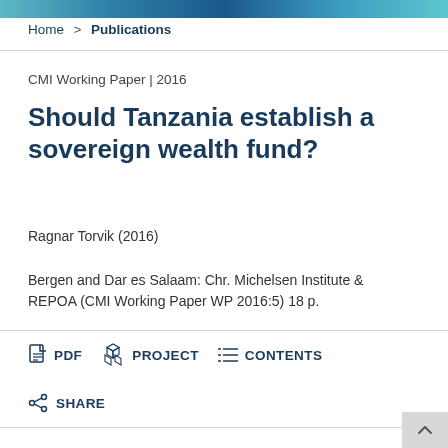Home > Publications
CMI Working Paper | 2016
Should Tanzania establish a sovereign wealth fund?
Ragnar Torvik (2016)
Bergen and Dar es Salaam: Chr. Michelsen Institute & REPOA (CMI Working Paper WP 2016:5) 18 p.
PDF  PROJECT  CONTENTS
SHARE